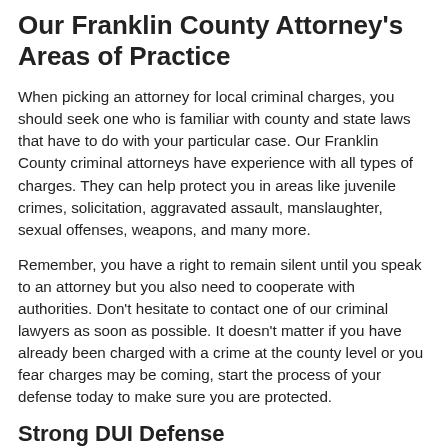Our Franklin County Attorney's Areas of Practice
When picking an attorney for local criminal charges, you should seek one who is familiar with county and state laws that have to do with your particular case. Our Franklin County criminal attorneys have experience with all types of charges. They can help protect you in areas like juvenile crimes, solicitation, aggravated assault, manslaughter, sexual offenses, weapons, and many more.
Remember, you have a right to remain silent until you speak to an attorney but you also need to cooperate with authorities. Don't hesitate to contact one of our criminal lawyers as soon as possible. It doesn't matter if you have already been charged with a crime at the county level or you fear charges may be coming, start the process of your defense today to make sure you are protected.
Strong DUI Defense